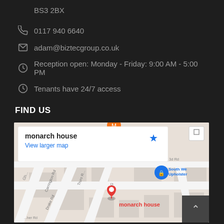BS3 2BX
0117 940 6640
adam@biztecgroup.co.uk
Reception open: Monday - Friday: 9:00 AM - 5:00 PM
Tenants have 24/7 access
FIND US
[Figure (map): Google Maps screenshot showing monarch house location, with a popup showing 'monarch house' and 'View larger map' link, red location pin on the map labeled 'monarch house', South We... Upholster... visible, street names including Carrington Rd, Truro R, Drake Rd, Agate S...]